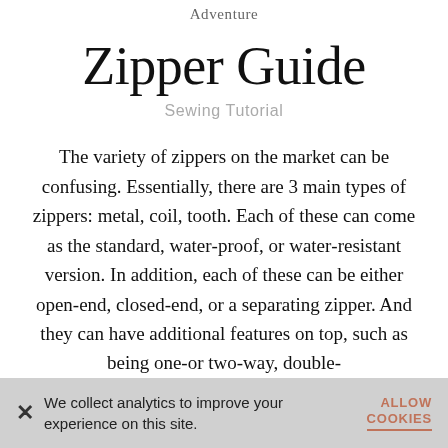Adventure
Zipper Guide
Sewing Tutorial
The variety of zippers on the market can be confusing. Essentially, there are 3 main types of zippers: metal, coil, tooth. Each of these can come as the standard, water-proof, or water-resistant version. In addition, each of these can be either open-end, closed-end, or a separating zipper. And they can have additional features on top, such as being one-or two-way, double-
We collect analytics to improve your experience on this site.